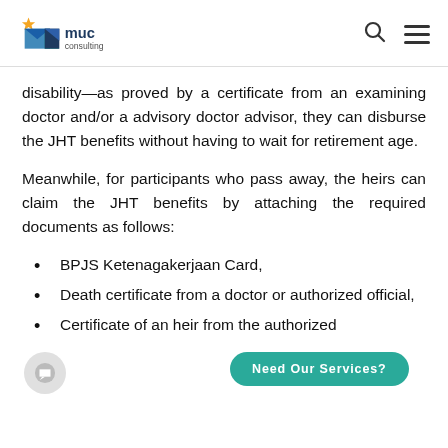MUC Consulting
disability—as proved by a certificate from an examining doctor and/or a advisory doctor advisor, they can disburse the JHT benefits without having to wait for retirement age.
Meanwhile, for participants who pass away, the heirs can claim the JHT benefits by attaching the required documents as follows:
BPJS Ketenagakerjaan Card,
Death certificate from a doctor or authorized official,
Certificate of an heir from the authorized official, and letter of statement from the...